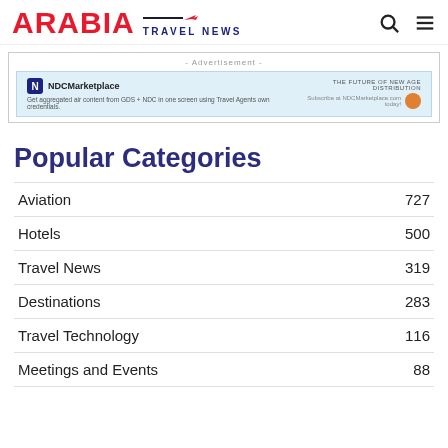ARABIA TRAVEL NEWS
[Figure (infographic): Advertisement banner for NDCMarketplace: 'Get aggregated air content from GDS + NDC in one screen using Travel Agents own credentials.']
Popular Categories
Aviation 727
Hotels 500
Travel News 319
Destinations 283
Travel Technology 116
Meetings and Events 88